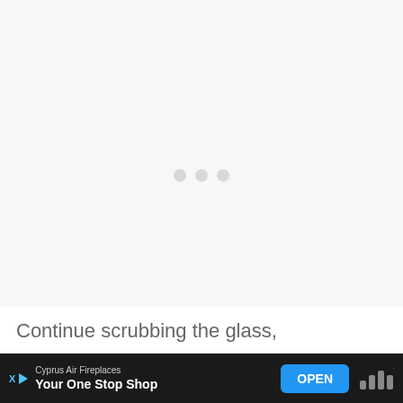[Figure (other): Loading state with three gray dots centered in a light gray blank content area. A small brand logo (bar chart style with superscript degree symbol) appears in the bottom right corner of the content area.]
Continue scrubbing the glass,
Cyprus Air Fireplaces
Your One Stop Shop
OPEN